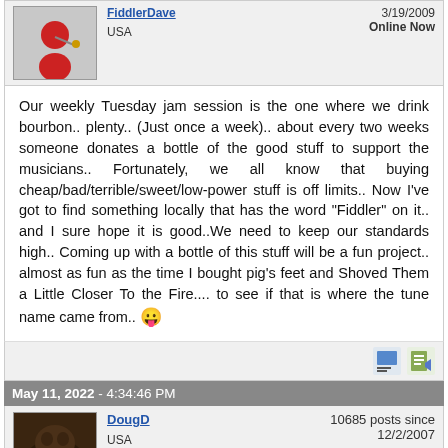[Figure (photo): User avatar showing a cartoon/illustration figure playing violin, with red costume]
USA
3/19/2009
Online Now
Our weekly Tuesday jam session is the one where we drink bourbon.. plenty.. (Just once a week).. about every two weeks someone donates a bottle of the good stuff to support the musicians.. Fortunately, we all know that buying cheap/bad/terrible/sweet/low-power stuff is off limits.. Now I've got to find something locally that has the word "Fiddler" on it.. and I sure hope it is good..We need to keep our standards high.. Coming up with a bottle of this stuff will be a fun project.. almost as fun as the time I bought pig's feet and Shoved Them a Little Closer To the Fire.... to see if that is where the tune name came from.. 😛
May 11, 2022 - 4:34:46 PM
[Figure (photo): User avatar showing a dark colored dog resting]
DougD
USA
10685 posts since
12/2/2007